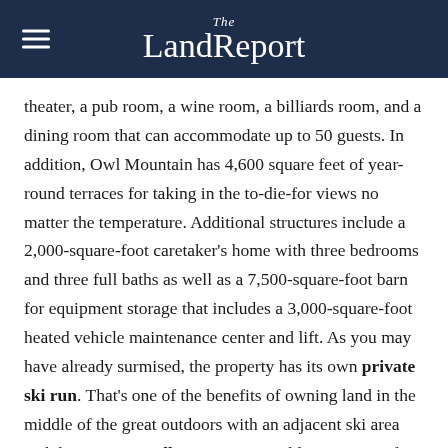The LandReport
theater, a pub room, a wine room, a billiards room, and a dining room that can accommodate up to 50 guests. In addition, Owl Mountain has 4,600 square feet of year-round terraces for taking in the to-die-for views no matter the temperature. Additional structures include a 2,000-square-foot caretaker's home with three bedrooms and three full baths as well as a 7,500-square-foot barn for equipment storage that includes a 3,000-square-foot heated vehicle maintenance center and lift. As you may have already surmised, the property has its own private ski run. That's one of the benefits of owning land in the middle of the great outdoors with an adjacent ski area and the Maroon Bells-Snowmass Wilderness Area close by for hiking, biking exploring. [Listed by Aspen Snowmass Sotheby's International Realty | www.aspensnowmasssir.com]